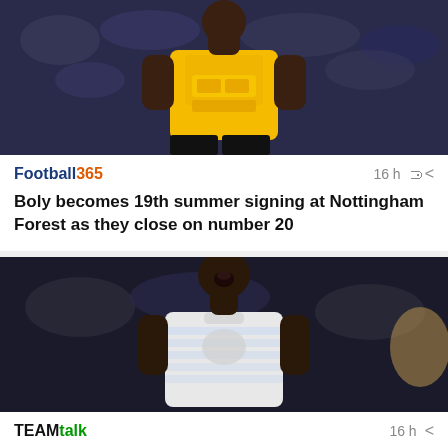[Figure (photo): Football player wearing Wolverhampton Wanderers yellow jersey with 万博 and ManBetX sponsor logos, standing on a pitch with blurred crowd background]
Football365   16 h
Boly becomes 19th summer signing at Nottingham Forest as they close on number 20
[Figure (photo): Football player wearing Olympique de Marseille white jersey with Puma logo, mouth open, celebrating or shouting, with blurred background]
TEAMtalk   16 h
Leeds United transfer news: Bamba Dieng deal close for bargain fee as fresh doubts emerge over Dan James
[Figure (photo): Partial photo at bottom of page, cropped]